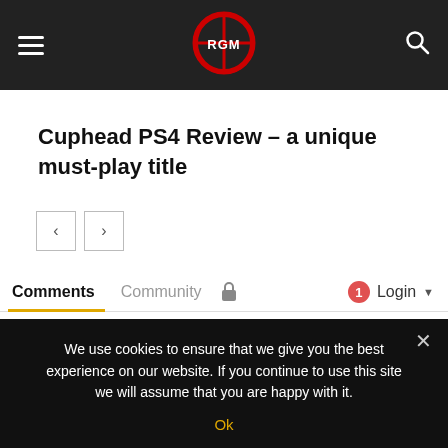RGM navigation bar with hamburger menu, RGM logo, and search icon
Cuphead PS4 Review – a unique must-play title
[Figure (other): Navigation arrows: left arrow button and right arrow button]
Comments   Community   [lock icon]   1   Login
♡ Favorite   Sort by Newest
We use cookies to ensure that we give you the best experience on our website. If you continue to use this site we will assume that you are happy with it.
Ok